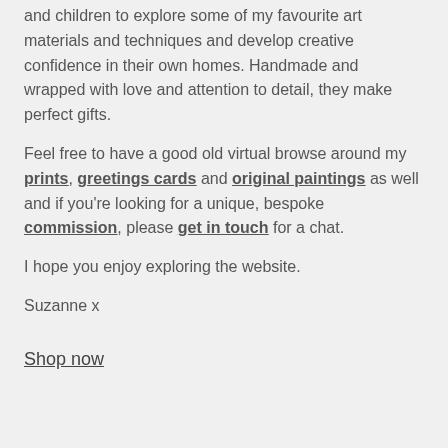and children to explore some of my favourite art materials and techniques and develop creative confidence in their own homes. Handmade and wrapped with love and attention to detail, they make perfect gifts.
Feel free to have a good old virtual browse around my prints, greetings cards and original paintings as well and if you're looking for a unique, bespoke commission, please get in touch for a chat.
I hope you enjoy exploring the website.
Suzanne x
Shop now